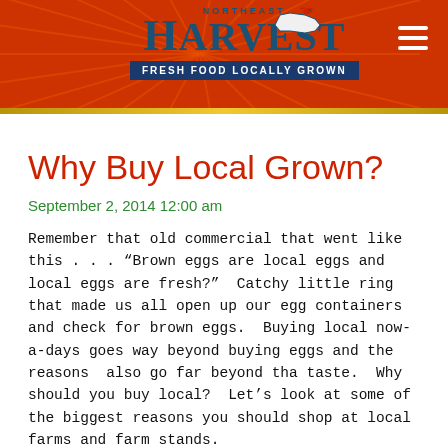[Figure (logo): Northeast Harvest logo on red banner with sun rays background. Logo shows 'NORTHEAST' above 'HARVEST' in navy blue serif font, with a Massachusetts state map silhouette and a blue bird. Below logo is a navy blue tagline bar reading 'FRESH FOOD LOCALLY GROWN'. A hamburger menu icon (three white horizontal lines) appears in the top right corner.]
Why Buy Local Grown?
September 2, 2014 12:00 am
Remember that old commercial that went like this . . . “Brown eggs are local eggs and local eggs are fresh?”  Catchy little ring that made us all open up our egg containers and check for brown eggs.  Buying local now-a-days goes way beyond buying eggs and the reasons  also go far beyond tha taste.  Why should you buy local?  Let’s look at some of the biggest reasons you should shop at local farms and farm stands.